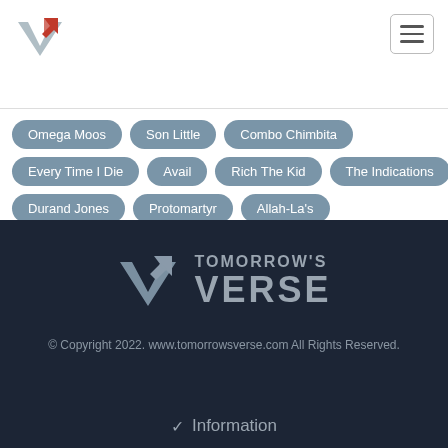Tomorrow's Verse logo and navigation
Omega Moos
Son Little
Combo Chimbita
Every Time I Die
Avail
Rich The Kid
The Indications
Durand Jones
Protomartyr
Allah-La's
[Figure (logo): Tomorrow's Verse logo in footer with stylized V arrow icon]
© Copyright 2022. www.tomorrowsverse.com All Rights Reserved.
✓ Information